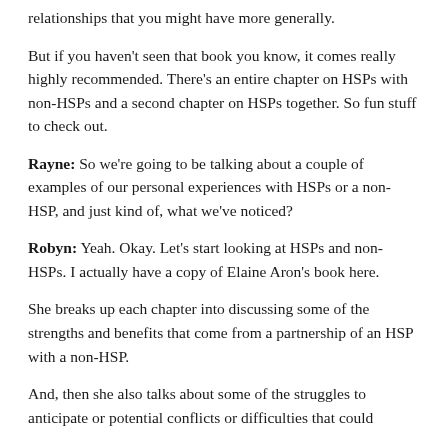relationships that you might have more generally.
But if you haven't seen that book you know, it comes really highly recommended. There's an entire chapter on HSPs with non-HSPs and a second chapter on HSPs together. So fun stuff to check out.
Rayne: So we're going to be talking about a couple of examples of our personal experiences with HSPs or a non-HSP, and just kind of, what we've noticed?
Robyn: Yeah. Okay. Let's start looking at HSPs and non-HSPs. I actually have a copy of Elaine Aron's book here.
She breaks up each chapter into discussing some of the strengths and benefits that come from a partnership of an HSP with a non-HSP.
And, then she also talks about some of the struggles to anticipate or potential conflicts or difficulties that could